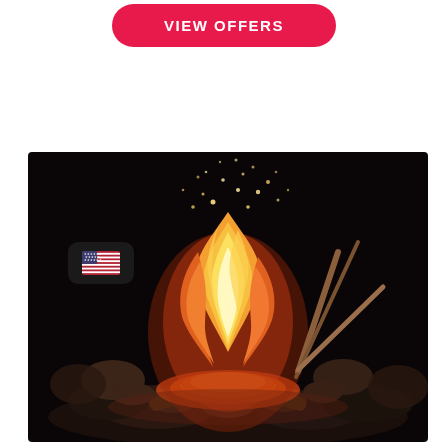[Figure (other): Pink/red rounded rectangle button with white bold uppercase text 'VIEW OFFERS']
[Figure (photo): Nighttime campfire photo showing bright orange and yellow flames with sparks flying upward, surrounded by rocks, with logs burning at the base. A stick or skewer is visible on the right side near the fire. Dark background.]
[Figure (other): Small dark rounded rectangle badge in lower-left of photo showing a US flag emoji/icon]